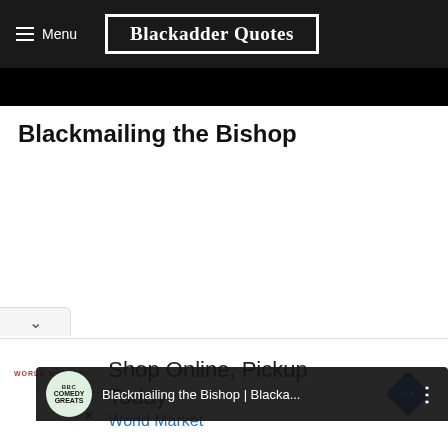Menu | Blackadder Quotes
Blackmailing the Bishop
[Figure (screenshot): YouTube video embed thumbnail for 'Blackmailing the Bishop | Blacka...' from BBC Comedy Greats channel, showing a dark scene with a person and a red play button overlay]
[Figure (screenshot): Advertisement banner: World Market — Shop Online, Pickup Today]